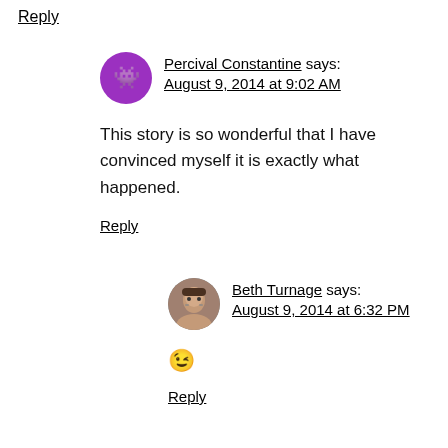Reply
Percival Constantine says: August 9, 2014 at 9:02 AM
This story is so wonderful that I have convinced myself it is exactly what happened.
Reply
Beth Turnage says: August 9, 2014 at 6:32 PM
😉
Reply